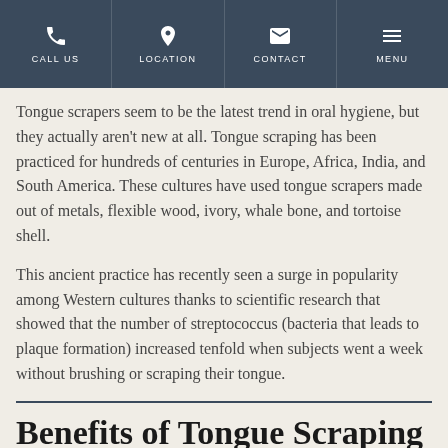CALL US | LOCATION | CONTACT | MENU
Tongue scrapers seem to be the latest trend in oral hygiene, but they actually aren't new at all. Tongue scraping has been practiced for hundreds of centuries in Europe, Africa, India, and South America. These cultures have used tongue scrapers made out of metals, flexible wood, ivory, whale bone, and tortoise shell.
This ancient practice has recently seen a surge in popularity among Western cultures thanks to scientific research that showed that the number of streptococcus (bacteria that leads to plaque formation) increased tenfold when subjects went a week without brushing or scraping their tongue.
Benefits of Tongue Scraping